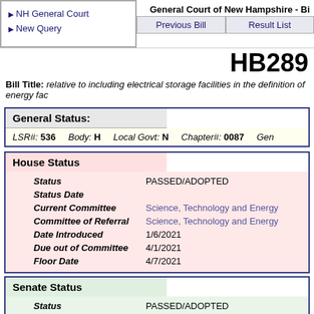General Court of New Hampshire - Bi...
NH General Court
New Query
Previous Bill | Result List
HB289
Bill Title: relative to including electrical storage facilities in the definition of energy fac...
General Status:
LSR#: 536   Body: H   Local Govt: N   Chapter#: 0087   Gen...
House Status
| Field | Value |
| --- | --- |
| Status | PASSED/ADOPTED |
| Status Date |  |
| Current Committee | Science, Technology and Energy |
| Committee of Referral | Science, Technology and Energy |
| Date Introduced | 1/6/2021 |
| Due out of Committee | 4/1/2021 |
| Floor Date | 4/7/2021 |
Senate Status
| Field | Value |
| --- | --- |
| Status | PASSED/ADOPTED |
| Status Date | 5/20/2021 |